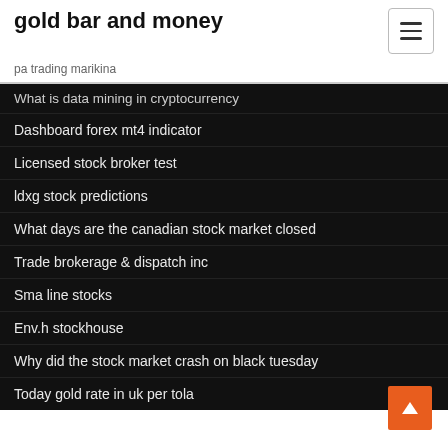gold bar and money
pa trading marikina
What is data mining in cryptocurrency
Dashboard forex mt4 indicator
Licensed stock broker test
ldxg stock predictions
What days are the canadian stock market closed
Trade brokerage & dispatch inc
Sma line stocks
Env.h stockhouse
Why did the stock market crash on black tuesday
Today gold rate in uk per tola